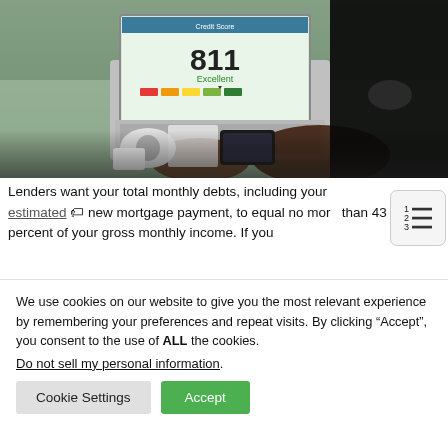[Figure (photo): Person in black business attire typing on a laptop displaying a credit score of 811 (Excellent) on screen. Desk has a phone, tape dispenser, and mouse visible. Background is a glass desk with various office items.]
Lenders want your total monthly debts, including your estimated new mortgage payment, to equal no more than 43 percent of your gross monthly income. If you
We use cookies on our website to give you the most relevant experience by remembering your preferences and repeat visits. By clicking “Accept”, you consent to the use of ALL the cookies.
Do not sell my personal information.